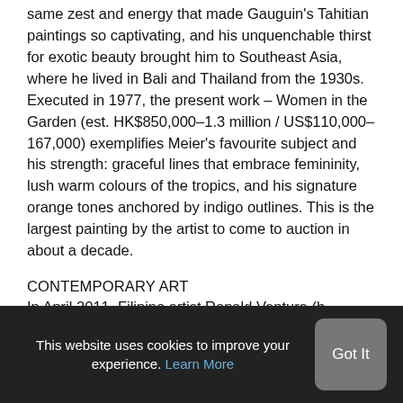same zest and energy that made Gauguin's Tahitian paintings so captivating, and his unquenchable thirst for exotic beauty brought him to Southeast Asia, where he lived in Bali and Thailand from the 1930s. Executed in 1977, the present work – Women in the Garden (est. HK$850,000–1.3 million / US$110,000–167,000) exemplifies Meier's favourite subject and his strength: graceful lines that embrace femininity, lush warm colours of the tropics, and his signature orange tones anchored by indigo outlines. This is the largest painting by the artist to come to auction in about a decade.
CONTEMPORARY ART
In April 2011, Filipino artist Ronald Ventura (b. 1973)'s
This website uses cookies to improve your experience. Learn More